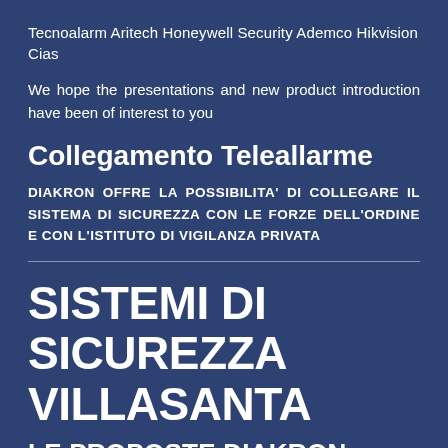Tecnoalarm Aritech Honeywell Security Ademco Hikvision Cias
We hope the presentations and new product introduction have been of interest to you
Collegamento Teleallarme
DIAKRON OFFRE LA POSSIBILITA' DI COLLEGARE IL SISTEMA DI SICUREZZA CON LE FORZE DELL'ORDINE E CON L'ISTITUTO DI VIGILANZA PRIVATA
SISTEMI DI SICUREZZA VILLASANTA
LE PROPOSTE DIAKRON:
SISTEMI DI GESTIONE AD ALTA TECNOLOGIA CON APP PER CELLULARE E TABLET